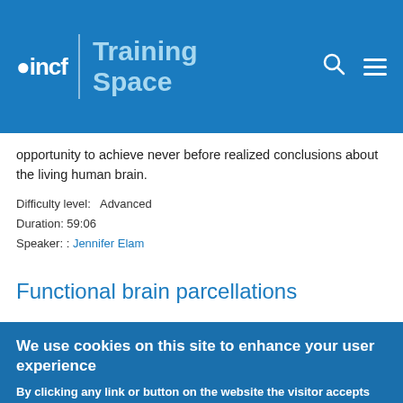INCF Training Space
opportunity to achieve never before realized conclusions about the living human brain.
Difficulty level: Advanced
Duration: 59:06
Speaker: : Jennifer Elam
Functional brain parcellations
We use cookies on this site to enhance your user experience
By clicking any link or button on the website the visitor accepts the cookie policy. More info
Accept   No, thanks